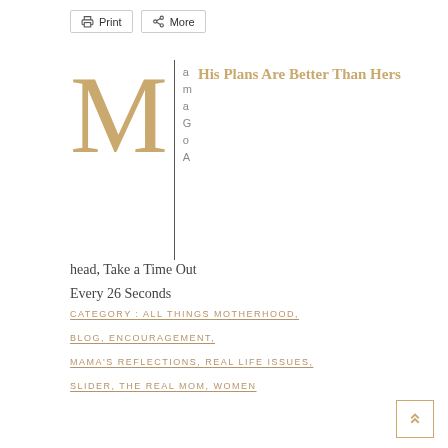Print  More
His Plans Are Better Than Hers
amaGoAhead, Take a Time Out
Every 26 Seconds
CATEGORY : ALL THINGS MOTHERHOOD,
BLOG, ENCOURAGEMENT,
MAMA'S REFLECTIONS, REAL LIFE ISSUES,
SLIDER, THE REAL MOM, WOMEN